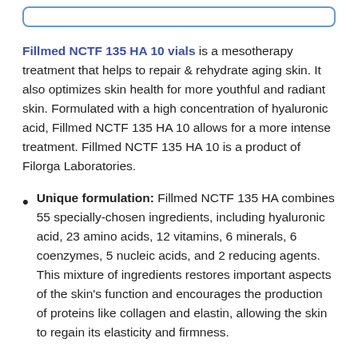[Figure (other): Rounded rectangle border element at top of page]
Fillmed NCTF 135 HA 10 vials is a mesotherapy treatment that helps to repair & rehydrate aging skin. It also optimizes skin health for more youthful and radiant skin. Formulated with a high concentration of hyaluronic acid, Fillmed NCTF 135 HA 10 allows for a more intense treatment. Fillmed NCTF 135 HA 10 is a product of Filorga Laboratories.
Unique formulation: Fillmed NCTF 135 HA combines 55 specially-chosen ingredients, including hyaluronic acid, 23 amino acids, 12 vitamins, 6 minerals, 6 coenzymes, 5 nucleic acids, and 2 reducing agents. This mixture of ingredients restores important aspects of the skin's function and encourages the production of proteins like collagen and elastin, allowing the skin to regain its elasticity and firmness.